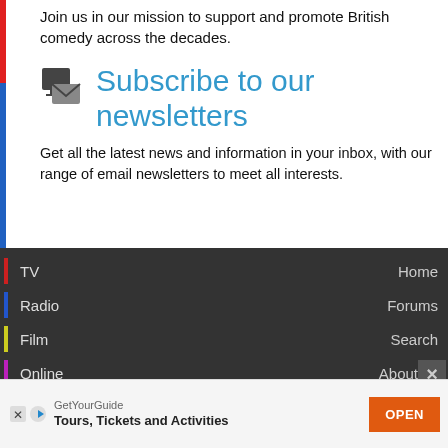Join us in our mission to support and promote British comedy across the decades.
Subscribe to our newsletters
Get all the latest news and information in your inbox, with our range of email newsletters to meet all interests.
TV
Radio
Film
Online
Live
Home
Forums
Search
About us
Contact u
GetYourGuide Tours, Tickets and Activities OPEN